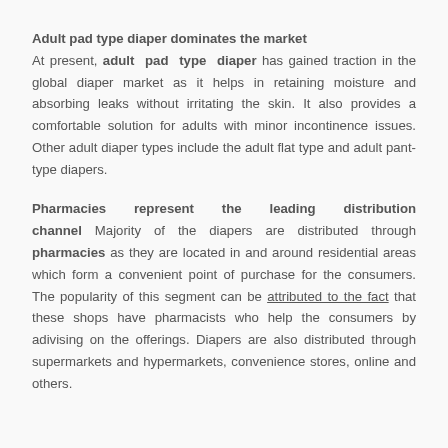Adult pad type diaper dominates the market
At present, adult pad type diaper has gained traction in the global diaper market as it helps in retaining moisture and absorbing leaks without irritating the skin. It also provides a comfortable solution for adults with minor incontinence issues. Other adult diaper types include the adult flat type and adult pant-type diapers.
Pharmacies represent the leading distribution channel
Majority of the diapers are distributed through pharmacies as they are located in and around residential areas which form a convenient point of purchase for the consumers. The popularity of this segment can be attributed to the fact that these shops have pharmacists who help the consumers by adivising on the offerings. Diapers are also distributed through supermarkets and hypermarkets, convenience stores, online and others.